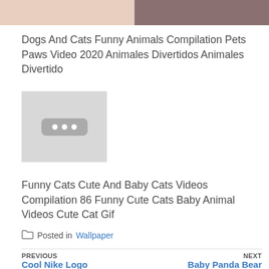[Figure (photo): Top portion of an image split into two sections: left showing a skin/beige tone, right showing a darker reddish-gray tone — appears to be a cropped animals/pets image]
Dogs And Cats Funny Animals Compilation Pets Paws Video 2020 Animales Divertidos Animales Divertido
[Figure (photo): Thumbnail placeholder image with a gray background and a rounded rectangle containing three white dots]
Funny Cats Cute And Baby Cats Videos Compilation 86 Funny Cute Cats Baby Animal Videos Cute Cat Gif
Posted in Wallpaper
PREVIOUS Cool Nike Logo  |  NEXT Baby Panda Bear